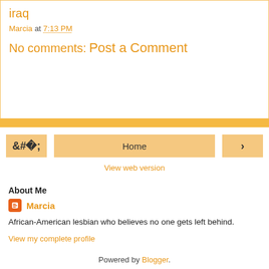iraq
Marcia at 7:13 PM
No comments:
Post a Comment
‹  Home  ›
View web version
About Me
Marcia
African-American lesbian who believes no one gets left behind.
View my complete profile
Powered by Blogger.